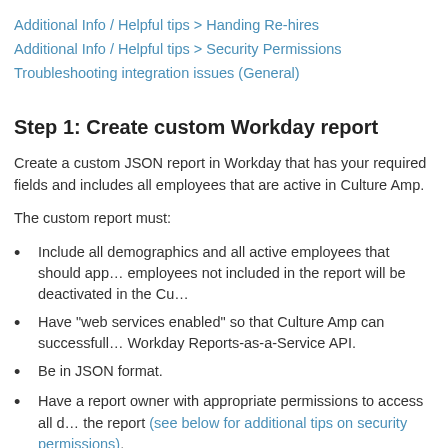Additional Info / Helpful tips > Handing Re-hires
Additional Info / Helpful tips > Security Permissions
Troubleshooting integration issues (General)
Step 1: Create custom Workday report
Create a custom JSON report in Workday that has your required fields and includes all employees that are active in Culture Amp.
The custom report must:
Include all demographics and all active employees that should appear in Culture Amp; employees not included in the report will be deactivated in the Culture Amp account.
Have "web services enabled" so that Culture Amp can successfully call your report via the Workday Reports-as-a-Service API.
Be in JSON format.
Have a report owner with appropriate permissions to access all data included in the report (see below for additional tips on security permissions).